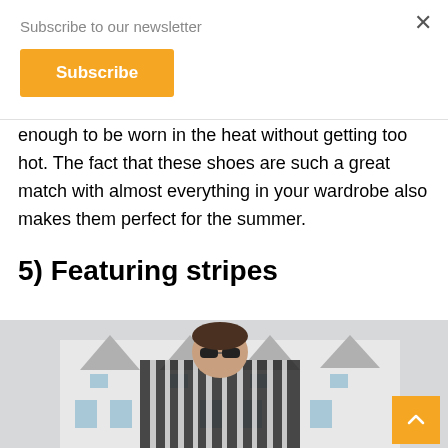Subscribe to our newsletter
Subscribe
enough to be worn in the heat without getting too hot. The fact that these shoes are such a great match with almost everything in your wardrobe also makes them perfect for the summer.
5) Featuring stripes
[Figure (photo): Woman wearing striped black and white jacket with sunglasses, standing in front of a European-style building with dormer windows]